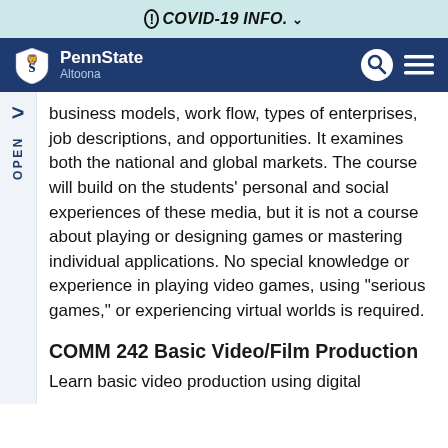! COVID-19 INFO. ˅
[Figure (logo): Penn State Altoona logo with lion shield on dark navy navbar with search and menu icons]
business models, work flow, types of enterprises, job descriptions, and opportunities. It examines both the national and global markets. The course will build on the students' personal and social experiences of these media, but it is not a course about playing or designing games or mastering individual applications. No special knowledge or experience in playing video games, using "serious games," or experiencing virtual worlds is required.
COMM 242 Basic Video/Film Production
Learn basic video production using digital